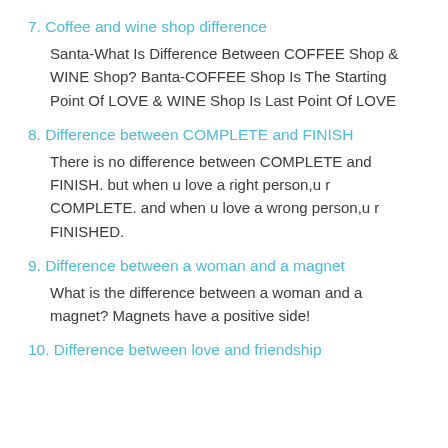7. Coffee and wine shop difference
Santa-What Is Difference Between COFFEE Shop & WINE Shop? Banta-COFFEE Shop Is The Starting Point Of LOVE & WINE Shop Is Last Point Of LOVE
8. Difference between COMPLETE and FINISH
There is no difference between COMPLETE and FINISH. but when u love a right person,u r COMPLETE. and when u love a wrong person,u r FINISHED.
9. Difference between a woman and a magnet
What is the difference between a woman and a magnet? Magnets have a positive side!
10. Difference between love and friendship